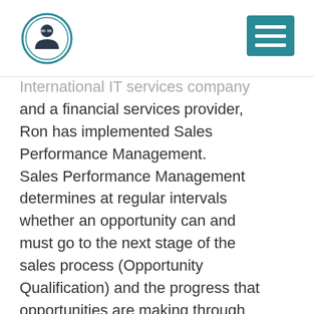[Logo and navigation menu]
International IT services company and a financial services provider, Ron has implemented Sales Performance Management. Sales Performance Management determines at regular intervals whether an opportunity can and must go to the next stage of the sales process (Opportunity Qualification) and the progress that opportunities are making through the sales funnel is discussed (Opportunity Monitoring). Opportunity Qualification ensures that, through structured questions, a